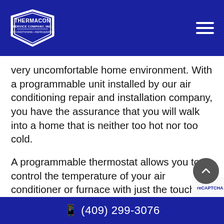Thermacon Service Company, Inc. — navigation header with logo and hamburger menu
very uncomfortable home environment. With a programmable unit installed by our air conditioning repair and installation company, you have the assurance that you will walk into a home that is neither too hot nor too cold.
A programmable thermostat allows you to control the temperature of your air conditioner or furnace with just the touch of a button. Many homeowners opt to get
📱 (409) 299-3076